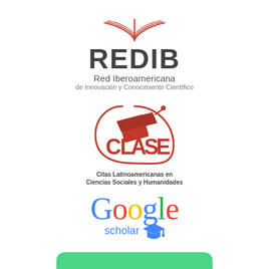[Figure (logo): REDIB logo — Red Iberoamericana de Innovación y Conocimiento Científico. Shows open book icon above the large text REDIB in dark gray, with subtitle text below.]
[Figure (logo): CLASE logo — Citas Latinoamericanas en Ciencias Sociales y Humanidades. Red graduation cap with circular swoosh, large stylized CLASE text in red, subtitle text below.]
[Figure (logo): Google Scholar logo — multicolored Google wordmark with 'scholar' text in blue beneath it and a small blue mortarboard icon.]
[Figure (logo): Partial green bar visible at bottom of page, suggesting another logo cropped at page edge.]